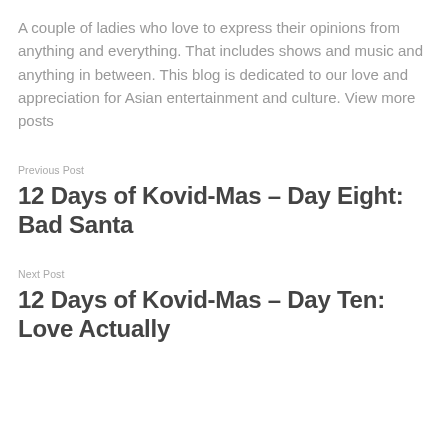A couple of ladies who love to express their opinions from anything and everything. That includes shows and music and anything in between. This blog is dedicated to our love and appreciation for Asian entertainment and culture. View more posts
Previous Post
12 Days of Kovid-Mas – Day Eight: Bad Santa
Next Post
12 Days of Kovid-Mas – Day Ten: Love Actually